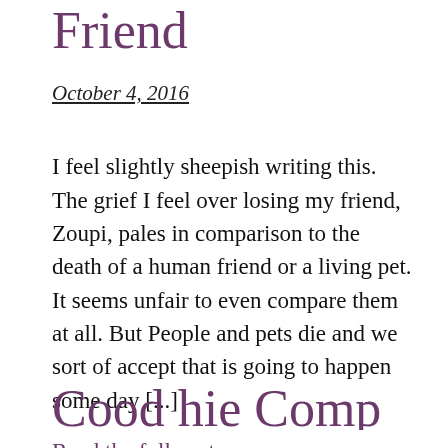Loss of a Feathered Friend
October 4, 2016
I feel slightly sheepish writing this. The grief I feel over losing my friend, Zoupi, pales in comparison to the death of a human friend or a living pet. It seems unfair to even compare them at all. But People and pets die and we sort of accept that is going to happen some day [...]
Read the full post